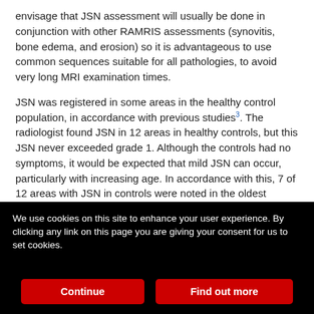envisage that JSN assessment will usually be done in conjunction with other RAMRIS assessments (synovitis, bone edema, and erosion) so it is advantageous to use common sequences suitable for all pathologies, to avoid very long MRI examination times.
JSN was registered in some areas in the healthy control population, in accordance with previous studies³. The radiologist found JSN in 12 areas in healthy controls, but this JSN never exceeded grade 1. Although the controls had no symptoms, it would be expected that mild JSN can occur, particularly with increasing age. In accordance with this, 7 of 12 areas with JSN in controls were noted in the oldest patient, a 57-year-old woman. Nevertheless, further study of healthy subjects, in different age groups and sex, is warranted.
We use cookies on this site to enhance your user experience. By clicking any link on this page you are giving your consent for us to set cookies.